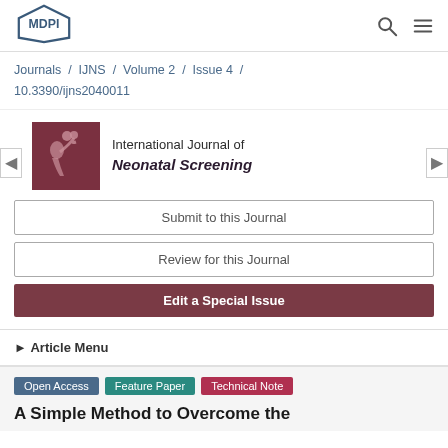[Figure (logo): MDPI logo in top left navigation bar]
Journals / IJNS / Volume 2 / Issue 4 / 10.3390/ijns2040011
[Figure (logo): International Journal of Neonatal Screening journal cover image showing mother and baby silhouette on dark red background]
International Journal of Neonatal Screening
Submit to this Journal
Review for this Journal
Edit a Special Issue
▶ Article Menu
Open Access  Feature Paper  Technical Note
A Simple Method to Overcome the